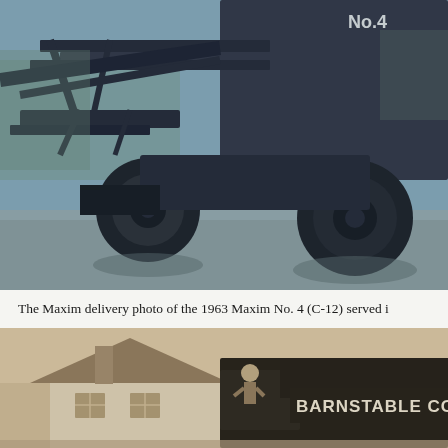[Figure (photo): Black and white / blue-tinted photo of a 1963 Maxim No. 4 (C-12) fire truck, showing the lower chassis, large tires, and mechanical arms of the vehicle. The label 'No.4' is visible on the body.]
The Maxim delivery photo of the 1963 Maxim No. 4 (C-12) served i
[Figure (photo): Sepia-toned historical photo showing a fire truck with 'BARNSTABLE CO' visible on its side, parked near a residential building with a person visible on or near the truck.]